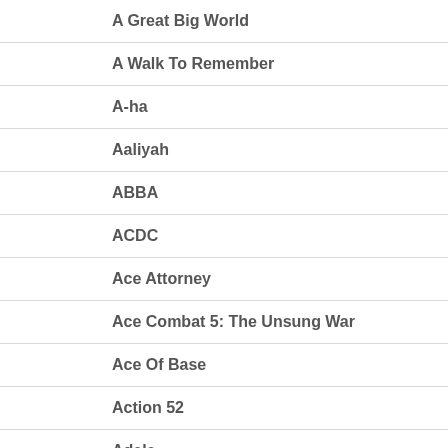A Great Big World
A Walk To Remember
A-ha
Aaliyah
ABBA
ACDC
Ace Attorney
Ace Combat 5: The Unsung War
Ace Of Base
Action 52
Adele